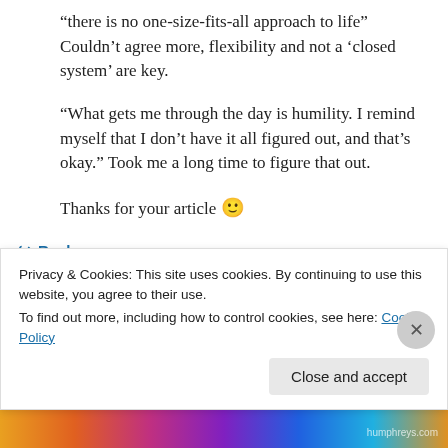“there is no one-size-fits-all approach to life” Couldn’t agree more, flexibility and not a ‘closed system’ are key.
“What gets me through the day is humility. I remind myself that I don’t have it all figured out, and that’s okay.” Took me a long time to figure that out.
Thanks for your article 🙂
↪ Reply
Privacy & Cookies: This site uses cookies. By continuing to use this website, you agree to their use.
To find out more, including how to control cookies, see here: Cookie Policy
Close and accept